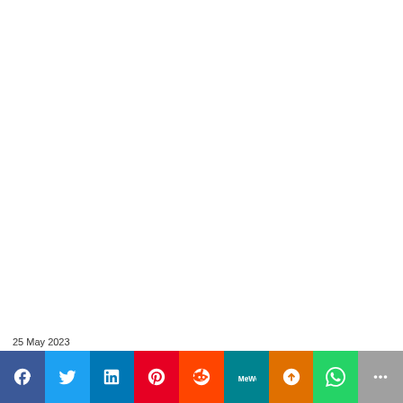25 May 2023
[Figure (infographic): Social media share bar with icons: Facebook, Twitter, LinkedIn, Pinterest, Reddit, MeWe, Mix, WhatsApp, More]